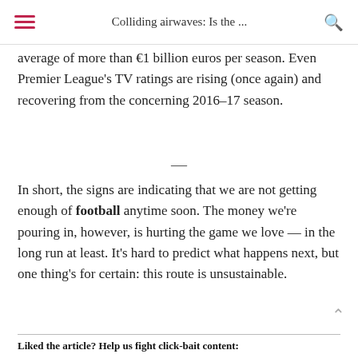Colliding airwaves: Is the ...
average of more than €1 billion euros per season. Even Premier League's TV ratings are rising (once again) and recovering from the concerning 2016-17 season.
—
In short, the signs are indicating that we are not getting enough of football anytime soon. The money we're pouring in, however, is hurting the game we love — in the long run at least. It's hard to predict what happens next, but one thing's for certain: this route is unsustainable.
Liked the article? Help us fight click-bait content: